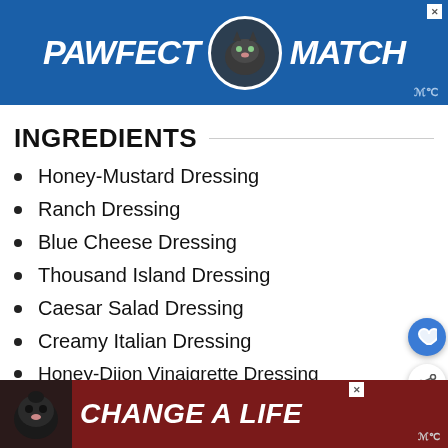[Figure (other): Advertisement banner: PAWFECT MATCH with cat logo, blue background]
INGREDIENTS
Honey-Mustard Dressing
Ranch Dressing
Blue Cheese Dressing
Thousand Island Dressing
Caesar Salad Dressing
Creamy Italian Dressing
Honey-Dijon Vinaigrette Dressing
Raspberry Vinaigrette
Balsamic Vinaigrette Dressing
[Figure (other): Advertisement banner: CHANGE A LIFE with dog logo, dark red background]